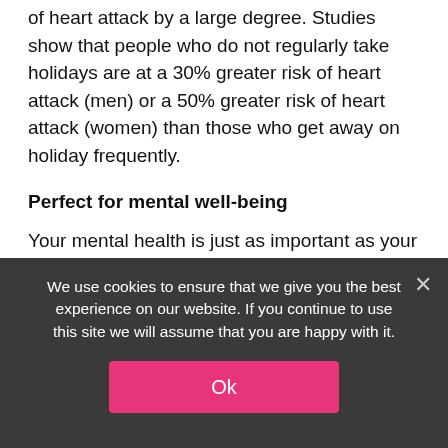of heart attack by a large degree. Studies show that people who do not regularly take holidays are at a 30% greater risk of heart attack (men) or a 50% greater risk of heart attack (women) than those who get away on holiday frequently.
Perfect for mental well-being
Your mental health is just as important as your physical health and taking a break in a villa will go a long way towards reducing depression and lowering stress
We use cookies to ensure that we give you the best experience on our website. If you continue to use this site we will assume that you are happy with it.